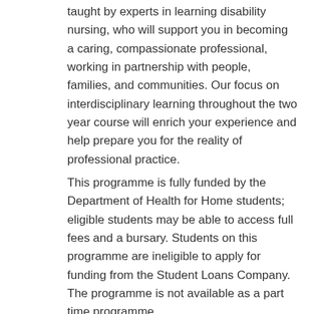taught by experts in learning disability nursing, who will support you in becoming a caring, compassionate professional, working in partnership with people, families, and communities. Our focus on interdisciplinary learning throughout the two year course will enrich your experience and help prepare you for the reality of professional practice.
This programme is fully funded by the Department of Health for Home students; eligible students may be able to access full fees and a bursary. Students on this programme are ineligible to apply for funding from the Student Loans Company. The programme is not available as a part time programme.